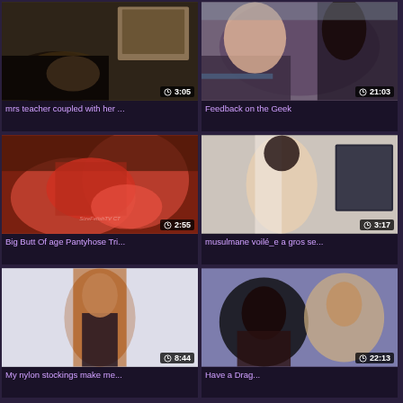[Figure (screenshot): Video thumbnail grid showing 6 video cards, each with thumbnail image, duration badge, and title]
mrs teacher coupled with her ...
Feedback on the Geek
Big Butt Of age Pantyhose Tri...
musulmane voilé_e a gros se...
My nylon stockings make me...
Have a Drag...